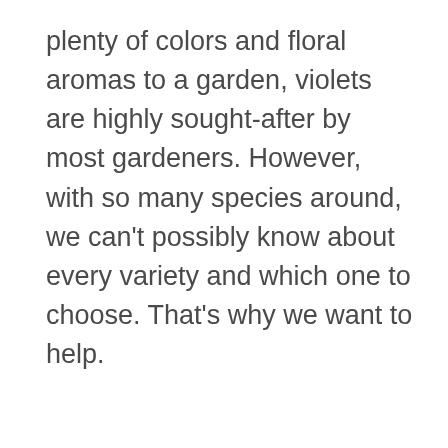plenty of colors and floral aromas to a garden, violets are highly sought-after by most gardeners. However, with so many species around, we can't possibly know about every variety and which one to choose. That's why we want to help.